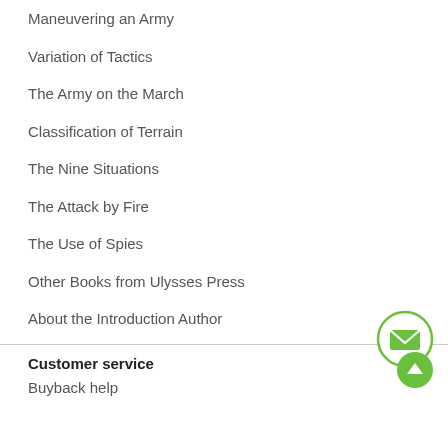Maneuvering an Army
Variation of Tactics
The Army on the March
Classification of Terrain
The Nine Situations
The Attack by Fire
The Use of Spies
Other Books from Ulysses Press
About the Introduction Author
Customer service
Buyback help